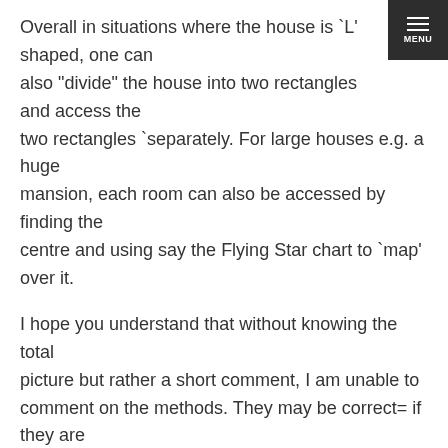Overall in situations where the house is `L' shaped, one can also "divide" the house into two rectangles and access the two rectangles `separately. For large houses e.g. a huge mansion, each room can also be accessed by finding the centre and using say the Flying Star chart to `map' over it.
I hope you understand that without knowing the total picture but rather a short comment, I am unable to comment on the methods. They may be correct= if they are evaluating the building. For example, some FS Masters advise to place two lamps on each side of the entrance of a building to encourage beneificial Qi to the building. For example, some departmental store exterior are always fully lighted up and one consideration is to improve on the building's Qi. This is similiar to what you have mentioned about lighting up the building.
Cecil Lee